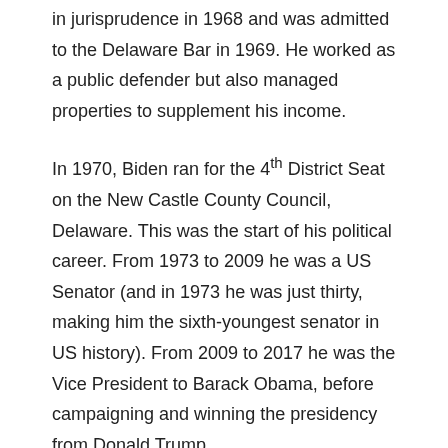in jurisprudence in 1968 and was admitted to the Delaware Bar in 1969. He worked as a public defender but also managed properties to supplement his income.
In 1970, Biden ran for the 4th District Seat on the New Castle County Council, Delaware. This was the start of his political career. From 1973 to 2009 he was a US Senator (and in 1973 he was just thirty, making him the sixth-youngest senator in US history). From 2009 to 2017 he was the Vice President to Barack Obama, before campaigning and winning the presidency from Donald Trump.
As someone who took over the presidency in the middle of a global pandemic, this minifigure comes with a dual sized head so he can wear a mask.
Donald Trump